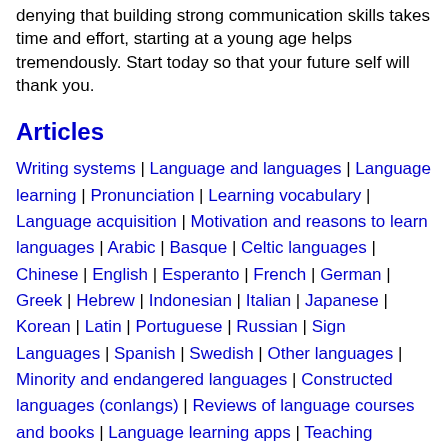denying that building strong communication skills takes time and effort, starting at a young age helps tremendously. Start today so that your future self will thank you.
Articles
Writing systems | Language and languages | Language learning | Pronunciation | Learning vocabulary | Language acquisition | Motivation and reasons to learn languages | Arabic | Basque | Celtic languages | Chinese | English | Esperanto | French | German | Greek | Hebrew | Indonesian | Italian | Japanese | Korean | Latin | Portuguese | Russian | Sign Languages | Spanish | Swedish | Other languages | Minority and endangered languages | Constructed languages (conlangs) | Reviews of language courses and books | Language learning apps | Teaching languages | Languages and careers | Being and becoming bilingual | Language and culture | Language development and disorders | Translation and interpreting | Multilingual websites, databases and coding |